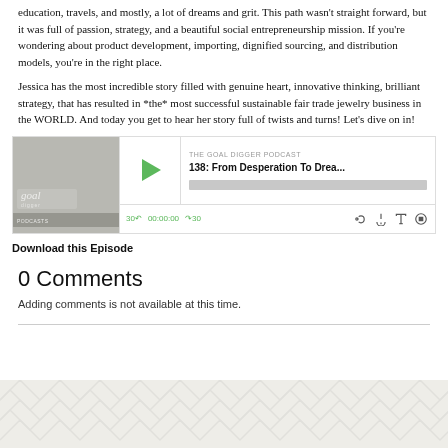education, travels, and mostly, a lot of dreams and grit. This path wasn't straight forward, but it was full of passion, strategy, and a beautiful social entrepreneurship mission. If you're wondering about product development, importing, dignified sourcing, and distribution models, you're in the right place.
Jessica has the most incredible story filled with genuine heart, innovative thinking, brilliant strategy, that has resulted in *the* most successful sustainable fair trade jewelry business in the WORLD. And today you get to hear her story full of twists and turns! Let's dive on in!
[Figure (screenshot): Podcast player for 'The Goal Digger Podcast' episode 138: From Desperation To Drea... showing play button, progress bar, time 00:00:00, and media controls]
Download this Episode
0 Comments
Adding comments is not available at this time.